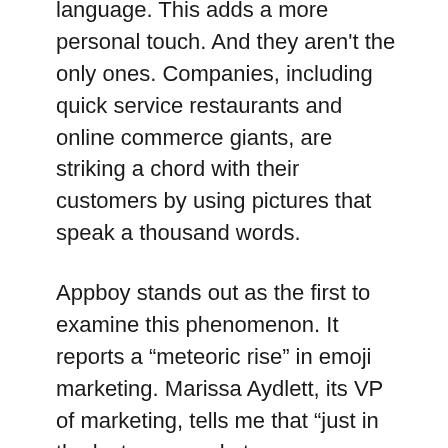language. This adds a more personal touch. And they aren't the only ones. Companies, including quick service restaurants and online commerce giants, are striking a chord with their customers by using pictures that speak a thousand words.
Appboy stands out as the first to examine this phenomenon. It reports a “meteoric rise” in emoji marketing. Marissa Aydlett, its VP of marketing, tells me that “just in the last year marketers across industries, using Appboy’s platform, sent tens of billions of emoji-based messages to over a billion of their customers.”